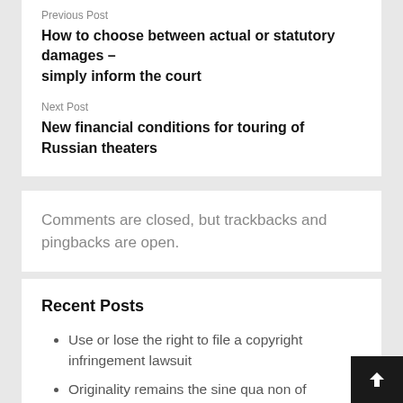Previous Post
How to choose between actual or statutory damages – simply inform the court
Next Post
New financial conditions for touring of Russian theaters
Comments are closed, but trackbacks and pingbacks are open.
Recent Posts
Use or lose the right to file a copyright infringement lawsuit
Originality remains the sine qua non of copyright, no author may copyright his ideas or the facts he